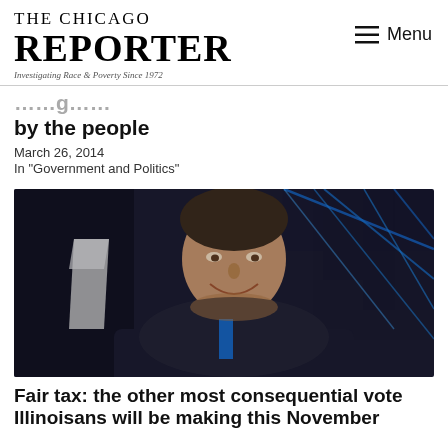THE CHICAGO REPORTER — Investigating Race & Poverty Since 1972
by the people
March 26, 2014
In "Government and Politics"
[Figure (photo): A man in a dark suit and blue tie smiling, photographed from below against a dark background with blue geometric lighting.]
Fair tax: the other most consequential vote Illinoisans will be making this November